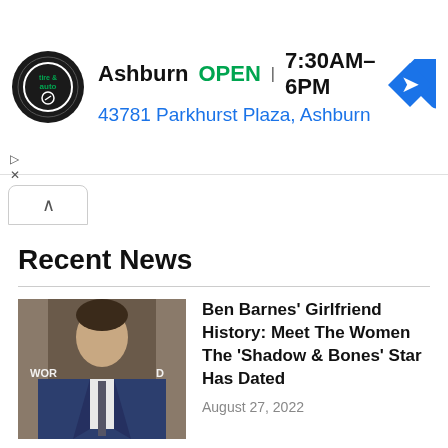[Figure (screenshot): Advertisement banner for tire & auto shop in Ashburn. Shows logo, OPEN status, hours 7:30AM–6PM, address 43781 Parkhurst Plaza Ashburn, and a blue navigation arrow icon.]
Ashburn  OPEN  7:30AM–6PM
43781 Parkhurst Plaza, Ashburn
[Figure (screenshot): Collapse/chevron up button]
Recent News
[Figure (photo): Photo of Ben Barnes in a dark suit with tie, at what appears to be a red carpet or press event. Text 'WORLD' partially visible in background.]
Ben Barnes' Girlfriend History: Meet The Women The 'Shadow & Bones' Star Has Dated
August 27, 2022
[Figure (photo): Partial photo of Taylor Lautner, dark background, only top portion visible.]
Taylor Lautner Reveals Why He Would